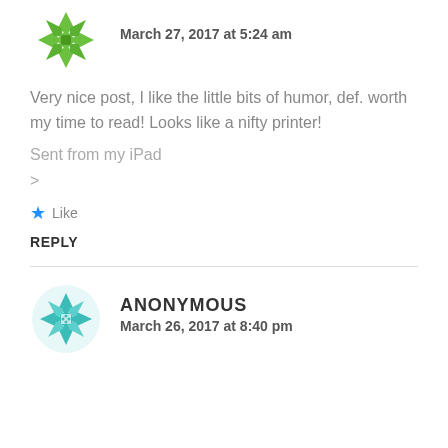[Figure (illustration): Green geometric quilt-star avatar icon, partially visible at top]
March 27, 2017 at 5:24 am
Very nice post, I like the little bits of humor, def. worth my time to read! Looks like a nifty printer!
Sent from my iPad
>
★ Like
REPLY
[Figure (illustration): Teal geometric quilt-star avatar icon for Anonymous commenter]
ANONYMOUS
March 26, 2017 at 8:40 pm